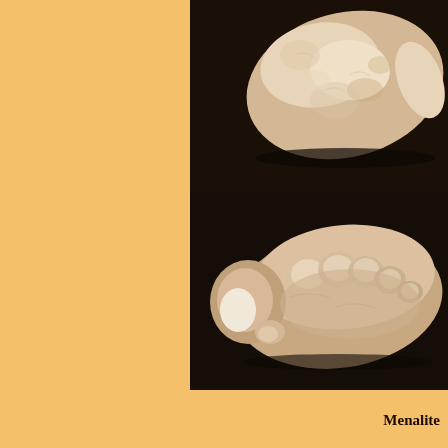[Figure (photo): Two photographs of a Menalite stone artifact on a dark background. Top photo shows the top/dorsal view of a smooth, rounded pale beige/cream colored stone with an organic irregular shape. Bottom photo shows the underside/ventral view of the same stone, revealing a foot-like shape with rounded toe-like protrusions arranged in a row.]
Menalite